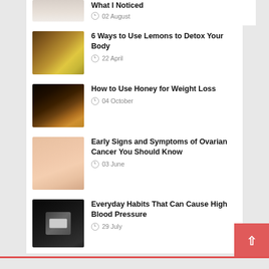[Figure (photo): Partial view of person in white clothing]
What I Noticed
02 August
[Figure (photo): Three lemons on a wooden surface]
6 Ways to Use Lemons to Detox Your Body
22 April
[Figure (photo): Glass jar of honey with honey dipper]
How to Use Honey for Weight Loss
04 October
[Figure (photo): Hands forming a heart shape over abdomen]
Early Signs and Symptoms of Ovarian Cancer You Should Know
03 June
[Figure (photo): Blood pressure monitor device with case]
Everyday Habits That Can Cause High Blood Pressure
29 July